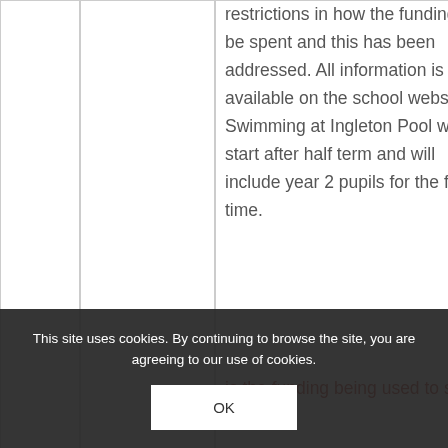restrictions in how the funding can be spent and this has been addressed. All information is available on the school website. Swimming at Ingleton Pool will start after half term and will include year 2 pupils for the first time.
is the funding being used to skill staff...
This site uses cookies. By continuing to browse the site, you are agreeing to our use of cookies.